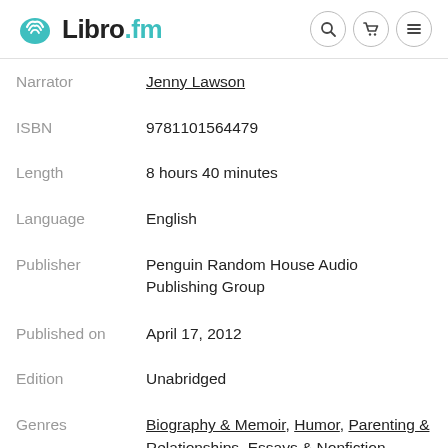Libro.fm
| Field | Value |
| --- | --- |
| Narrator | Jenny Lawson |
| ISBN | 9781101564479 |
| Length | 8 hours 40 minutes |
| Language | English |
| Publisher | Penguin Random House Audio Publishing Group |
| Published on | April 17, 2012 |
| Edition | Unabridged |
| Genres | Biography & Memoir, Humor, Parenting & Relationships, Essays & Nonfiction |